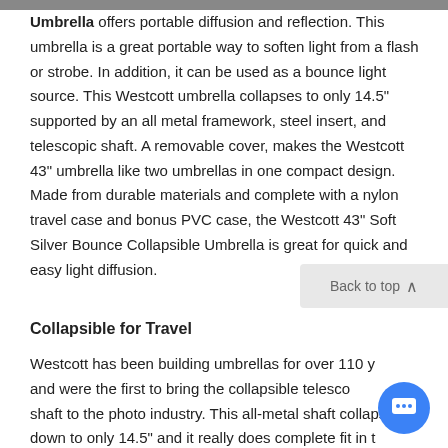Umbrella offers portable diffusion and reflection. This umbrella is a great portable way to soften light from a flash or strobe. In addition, it can be used as a bounce light source. This Westcott umbrella collapses to only 14.5" supported by an all metal framework, steel insert, and telescopic shaft. A removable cover, makes the Westcott 43" umbrella like two umbrellas in one compact design. Made from durable materials and complete with a nylon travel case and bonus PVC case, the Westcott 43" Soft Silver Bounce Collapsible Umbrella is great for quick and easy light diffusion.
Collapsible for Travel
Westcott has been building umbrellas for over 110 y... and were the first to bring the collapsible telesco... shaft to the photo industry. This all-metal shaft collapses down to only 14.5" and it really does complete fit in t...